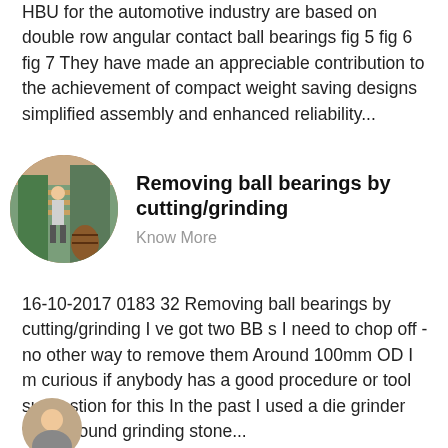HBU for the automotive industry are based on double row angular contact ball bearings fig 5 fig 6 fig 7 They have made an appreciable contribution to the achievement of compact weight saving designs simplified assembly and enhanced reliability...
[Figure (photo): Oval/circle thumbnail photo showing a person working in an industrial setting with green machinery and wooden structures.]
Removing ball bearings by cutting/grinding
Know More
16-10-2017 0183 32 Removing ball bearings by cutting/grinding I ve got two BB s I need to chop off - no other way to remove them Around 100mm OD I m curious if anybody has a good procedure or tool suggestion for this In the past I used a die grinder with a round grinding stone...
[Figure (photo): Partial circular avatar thumbnail at the bottom of the page, showing a person or profile image.]